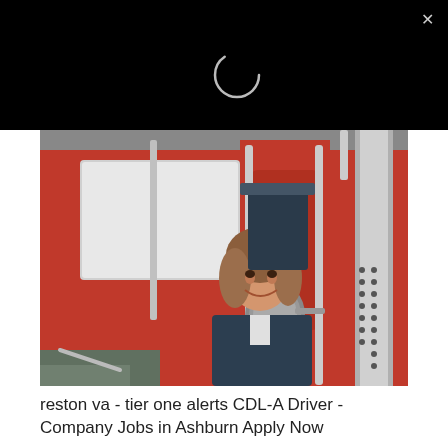[Figure (screenshot): Black top bar with loading spinner circle (dark ring on black background) and a close X button in top right corner]
[Figure (photo): A woman with curly brown hair smiling and leaning out of the cab window of a large red semi truck. She is wearing a dark jacket. The truck cab is red with chrome details and a chrome exhaust stack visible on the right.]
reston va - tier one alerts CDL-A Driver - Company Jobs in Ashburn Apply Now